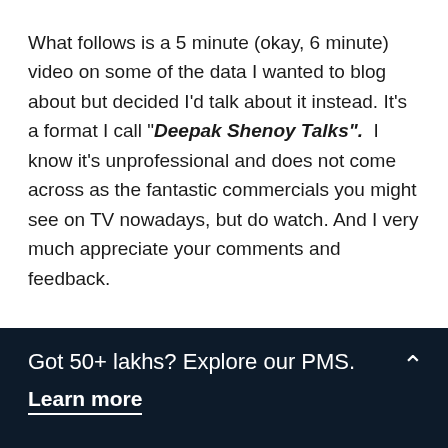What follows is a 5 minute (okay, 6 minute) video on some of the data I wanted to blog about but decided I'd talk about it instead. It's a format I call "Deepak Shenoy Talks".  I know it's unprofessional and does not come across as the fantastic commercials you might see on TV nowadays, but do watch. And I very much appreciate your comments and feedback.
Got 50+ lakhs? Explore our PMS.
Learn more